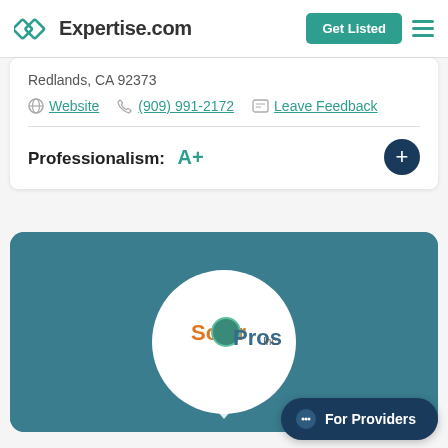Expertise.com — Get Listed
Redlands, CA 92373
Website  (909) 991-2172  Leave Feedback
Professionalism: A+
[Figure (logo): Solar Pros Inc. logo inside a white circle with a laurel wreath on a teal background]
For Providers